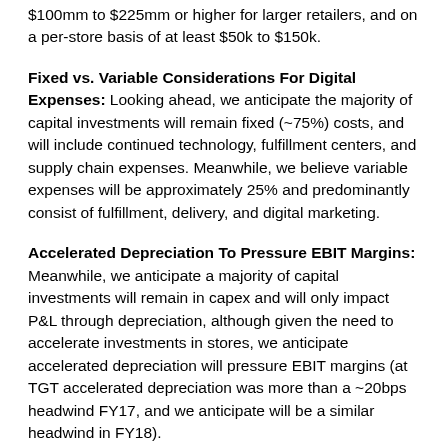$100mm to $225mm or higher for larger retailers, and on a per-store basis of at least $50k to $150k.
Fixed vs. Variable Considerations For Digital Expenses: Looking ahead, we anticipate the majority of capital investments will remain fixed (~75%) costs, and will include continued technology, fulfillment centers, and supply chain expenses. Meanwhile, we believe variable expenses will be approximately 25% and predominantly consist of fulfillment, delivery, and digital marketing.
Accelerated Depreciation To Pressure EBIT Margins: Meanwhile, we anticipate a majority of capital investments will remain in capex and will only impact P&L through depreciation, although given the need to accelerate investments in stores, we anticipate accelerated depreciation will pressure EBIT margins (at TGT accelerated depreciation was more than a ~20bps headwind FY17, and we anticipate will be a similar headwind in FY18).
Retailers Will Need To Shift Capex And Invest In Retrofitting Stores: As retailers continue to embrace experiential retail, we anticipate incremental dollars will be used on maintenance capex given the need to retrofit stores. Our analysis indicates retailers will likely need to invest at least $50k to $100k per store with some retailers needing significantly higher investments.